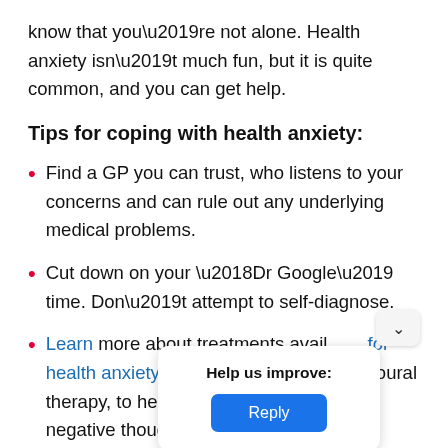know that you’re not alone. Health anxiety isn’t much fun, but it is quite common, and you can get help.
Tips for coping with health anxiety:
Find a GP you can trust, who listens to your concerns and can rule out any underlying medical problems.
Cut down on your ‘Dr Google’ time. Don’t attempt to self-diagnose.
Learn more about treatments available for health anxiety including cognitive behavioural therapy, to help identify and challenge negative thoughts about symptoms.
Help us improve: Reply